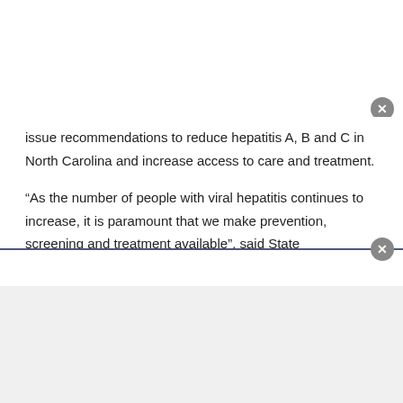issue recommendations to reduce hepatitis A, B and C in North Carolina and increase access to care and treatment.
“As the number of people with viral hepatitis continues to increase, it is paramount that we make prevention, screening and treatment available”, said State Epidemiologist and Epidemiology Section Chief Dr. Zack Moore. “This plan from the Viral Hepatitis Task Force will help focus our efforts to expand these services on the clinician and system levels to address viral hepatitis in our state.”